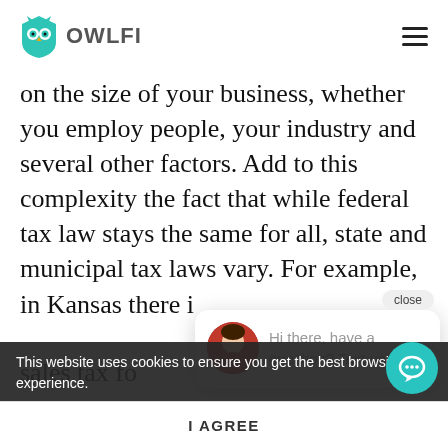OWLFI
on the size of your business, whether you employ people, your industry and several other factors. Add to this complexity the fact that while federal tax law stays the same for all, state and municipal tax laws vary. For example, in Kansas there is a sales tax for a certain amount of goods, in other states, a remote seller threshold when the seller sells a certain amount...missing an important piece of legislation could spell trouble later on, and as tax...
Hi there, have a question? Text us here.
This website uses cookies to ensure you get the best browsing experience.
I AGREE